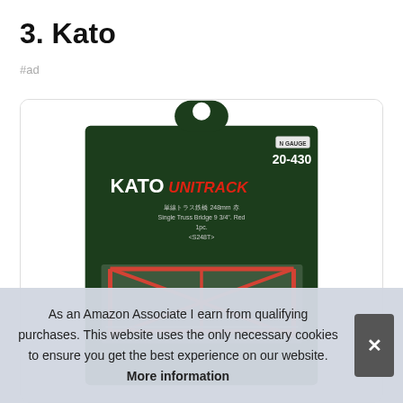3. Kato
#ad
[Figure (photo): Kato Unitrack 20-430 N-Gauge Single Truss Bridge 9 3/4 inch Red product packaging showing a red truss bridge model on a dark green blister card]
As an Amazon Associate I earn from qualifying purchases. This website uses the only necessary cookies to ensure you get the best experience on our website. More information